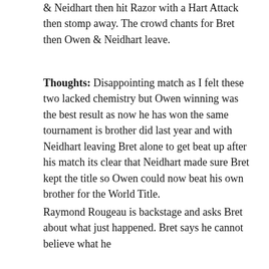& Neidhart then hit Razor with a Hart Attack then stomp away. The crowd chants for Bret then Owen & Neidhart leave.
Thoughts: Disappointing match as I felt these two lacked chemistry but Owen winning was the best result as now he has won the same tournament is brother did last year and with Neidhart leaving Bret alone to get beat up after his match its clear that Neidhart made sure Bret kept the title so Owen could now beat his own brother for the World Title.
Raymond Rougeau is backstage and asks Bret about what just happened. Bret says he cannot believe what he